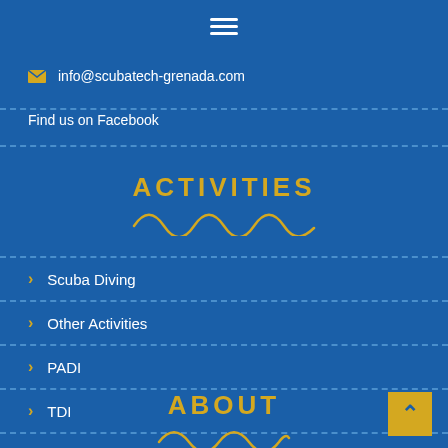[Figure (other): Hamburger menu icon (three horizontal white lines)]
info@scubatech-grenada.com
Find us on Facebook
ACTIVITIES
[Figure (illustration): Wavy gold decorative line under ACTIVITIES heading]
Scuba Diving
Other Activities
PADI
TDI
ABOUT
[Figure (illustration): Wavy gold decorative line under ABOUT heading]
[Figure (other): Back-to-top button: gold square with upward-pointing caret]